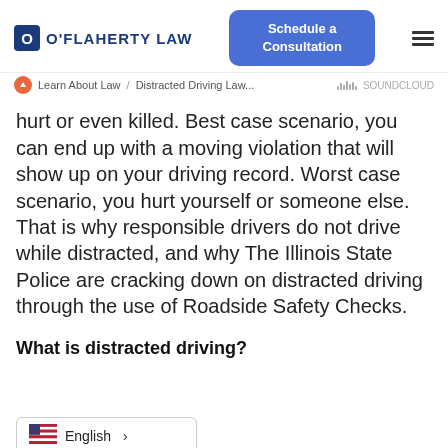O'Flaherty Law | Schedule a Consultation
Learn About Law / Distracted Driving Law... / SOUNDCLOUD
hurt or even killed. Best case scenario, you can end up with a moving violation that will show up on your driving record. Worst case scenario, you hurt yourself or someone else. That is why responsible drivers do not drive while distracted, and why The Illinois State Police are cracking down on distracted driving through the use of Roadside Safety Checks.
What is distracted driving?
Police (JSP) have a zero-